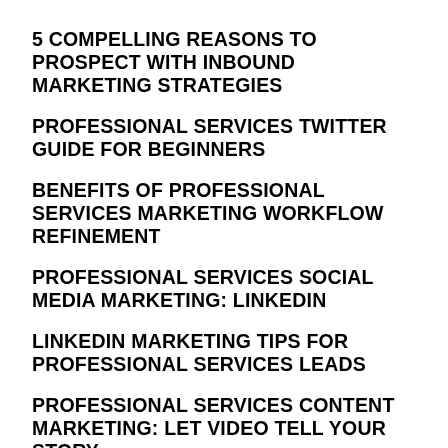5 COMPELLING REASONS TO PROSPECT WITH INBOUND MARKETING STRATEGIES
PROFESSIONAL SERVICES TWITTER GUIDE FOR BEGINNERS
BENEFITS OF PROFESSIONAL SERVICES MARKETING WORKFLOW REFINEMENT
PROFESSIONAL SERVICES SOCIAL MEDIA MARKETING: LINKEDIN
LINKEDIN MARKETING TIPS FOR PROFESSIONAL SERVICES LEADS
PROFESSIONAL SERVICES CONTENT MARKETING: LET VIDEO TELL YOUR STORY
LINKEDIN TIPS FOR PROFESSIONAL SERVICES